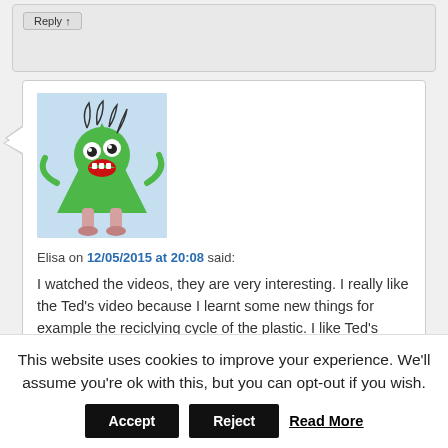Reply ↑ [top comment area, grayed out]
[Figure (illustration): Cartoon avatar of a green triangular monster character with wild hair, big googly eyes, a red-toothed mouth, and pink legs.]
Elisa on 12/05/2015 at 20:08 said:
I watched the videos, they are very interesting. I really like the Ted's video because I learnt some new things for example the reciclying cycle of the plastic. I like Ted's sentence " above ground mines " because it reverses perspective. I also appreciated the concept that mother nature reuses everything because I realized that it is true,nature
This website uses cookies to improve your experience. We'll assume you're ok with this, but you can opt-out if you wish. Accept Reject Read More